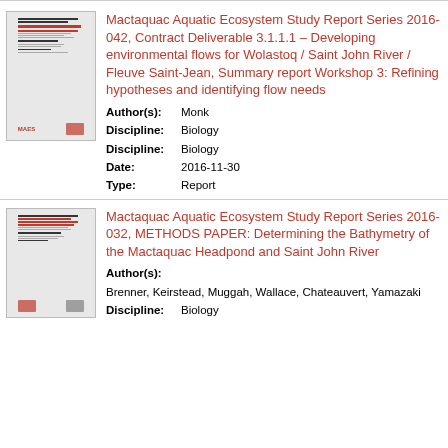[Figure (thumbnail): Thumbnail image of report cover for Mactaquac Aquatic Ecosystem Study Report Series 2016-042]
Mactaquac Aquatic Ecosystem Study Report Series 2016-042, Contract Deliverable 3.1.1.1 – Developing environmental flows for Wolastoq / Saint John River / Fleuve Saint-Jean, Summary report Workshop 3: Refining hypotheses and identifying flow needs
Author(s): Monk
Discipline: Biology
Discipline: Biology
Date: 2016-11-30
Type: Report
[Figure (thumbnail): Thumbnail image of report cover for Mactaquac Aquatic Ecosystem Study Report Series 2016-032]
Mactaquac Aquatic Ecosystem Study Report Series 2016-032, METHODS PAPER: Determining the Bathymetry of the Mactaquac Headpond and Saint John River
Author(s): Brenner, Keirstead, Muggah, Wallace, Chateauvert, Yamazaki
Discipline: Biology